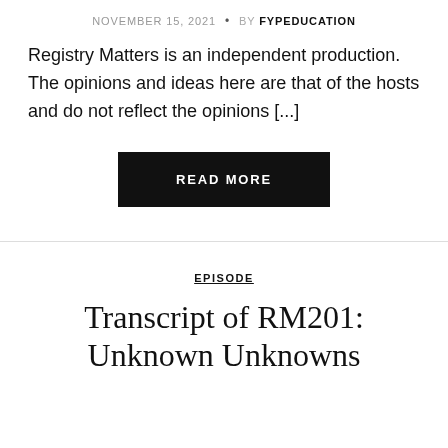NOVEMBER 15, 2021 • BY FYPEDUCATION
Registry Matters is an independent production. The opinions and ideas here are that of the hosts and do not reflect the opinions [...]
READ MORE
EPISODE
Transcript of RM201: Unknown Unknowns